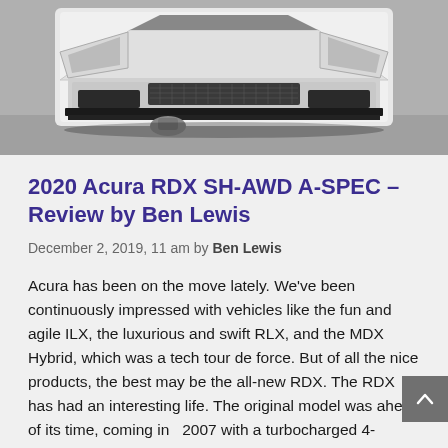[Figure (photo): Front view of a white Acura RDX SH-AWD A-SPEC vehicle, showing the front bumper, grille mesh, and lower body, photographed straight-on in what appears to be a garage or workshop.]
2020 Acura RDX SH-AWD A-SPEC – Review by Ben Lewis
December 2, 2019, 11 am by Ben Lewis
Acura has been on the move lately. We've been continuously impressed with vehicles like the fun and agile ILX, the luxurious and swift RLX, and the MDX Hybrid, which was a tech tour de force. But of all the nice products, the best may be the all-new RDX. The RDX has had an interesting life. The original model was ahead of its time, coming in  2007 with a turbocharged 4-cylinder engine and a very sporty